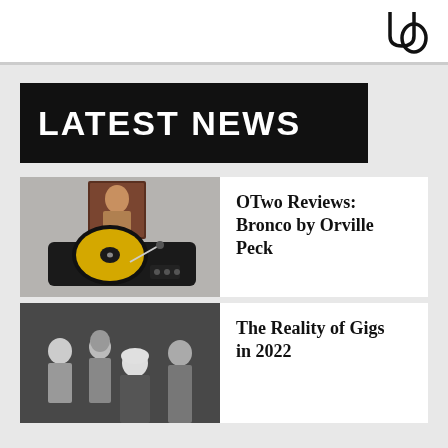UO logo
LATEST NEWS
[Figure (photo): A turntable with a yellow vinyl record and an album cover standing upright on a gray background]
OTwo Reviews: Bronco by Orville Peck
[Figure (photo): Black and white photo of a band of four people standing together]
The Reality of Gigs in 2022